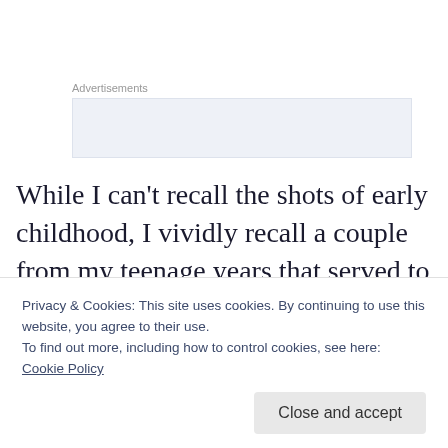Advertisements
[Figure (other): Advertisement placeholder box with light blue-grey background]
While I can’t recall the shots of early childhood, I vividly recall a couple from my teenage years that served to confirm these fears were well placed even if the basis of them was long forgotten. Pascagoula Junior High in 1984 was victimized by vandalizing pranksters. They broke into
Privacy & Cookies: This site uses cookies. By continuing to use this website, you agree to their use.
To find out more, including how to control cookies, see here: Cookie Policy
imprinted in memory for a different reason, one involving a